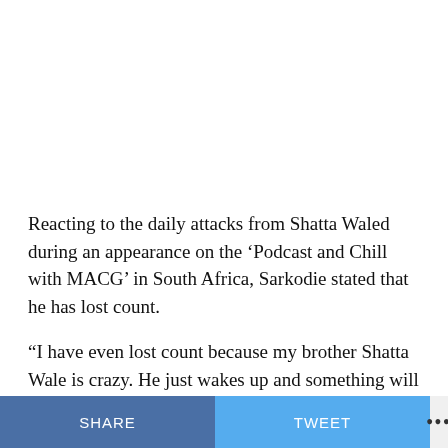Reacting to the daily attacks from Shatta Waled during an appearance on the ‘Podcast and Chill with MACG’ in South Africa, Sarkodie stated that he has lost count.
“I have even lost count because my brother Shatta Wale is crazy. He just wakes up and something will happen. I have lost count of what exactly happened, he has done a lot,” he stated.
SHARE   TWEET